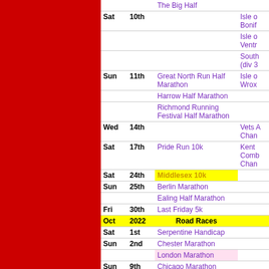| Day | Date | Road Races | Other |
| --- | --- | --- | --- |
|  |  | The Big Half |  |
| Sat | 10th |  | Isle o Bonif |
|  |  |  | Isle o Ventr |
|  |  |  | South (div 3 |
| Sun | 11th | Great North Run Half Marathon | Isle o Wrox |
|  |  | Harrow Half Marathon |  |
|  |  | Richmond Running Festival Half Marathon |  |
| Wed | 14th |  | Vets A Chan |
| Sat | 17th | Pride Run 10k | Kent Comb Chan |
| Sat | 24th | Middlesex 10k |  |
| Sun | 25th | Berlin Marathon |  |
|  |  | Ealing Half Marathon |  |
| Fri | 30th | Last Friday 5k |  |
| Oct | 2022 | Road Races |  |
| Sat | 1st | Serpentine Handicap |  |
| Sun | 2nd | Chester Marathon |  |
|  |  | London Marathon |  |
| Sun | 9th | Chicago Marathon |  |